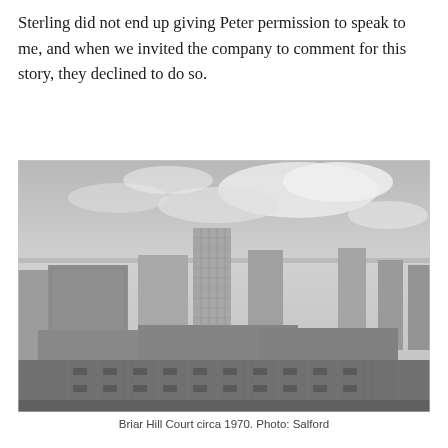Sterling did not end up giving Peter permission to speak to me, and when we invited the company to comment for this story, they declined to do so.
[Figure (photo): Black and white aerial photograph of Briar Hill Court housing estate circa 1970, showing high-rise tower blocks, lower commercial buildings, and a large car park in an urban setting.]
Briar Hill Court circa 1970. Photo: Salford